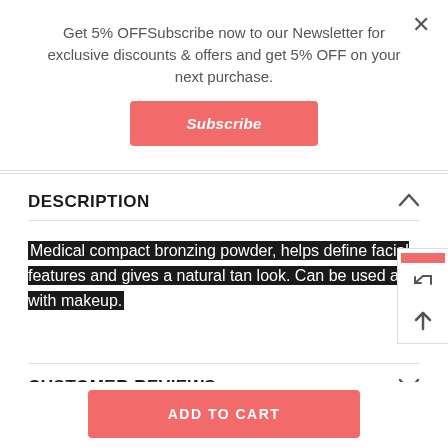Get 5% OFFSubscribe now to our Newsletter for exclusive discounts & offers and get 5% OFF on your next purchase.
Subscribe
DESCRIPTION
Medical compact bronzing powder, helps define facial features and gives a natural tan look. Can be used alo with makeup.
CUSTOMER REVIEWS
ADD TO CART